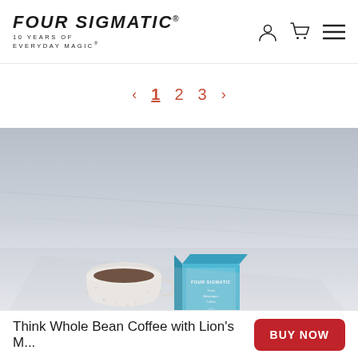[Figure (logo): Four Sigmatic logo with text '10 YEARS OF EVERYDAY MAGIC']
Navigation icons: user account, shopping cart, hamburger menu
< 1 2 3 >
[Figure (photo): Product photo: a ceramic cup of coffee and a Four Sigmatic product box on a snowy or light grey surface with dramatic shadows]
Think Whole Bean Coffee with Lion's M...
BUY NOW